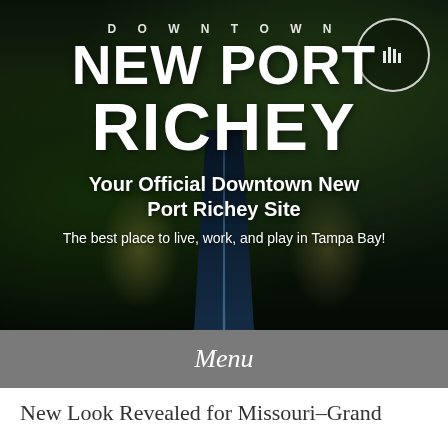[Figure (photo): Aerial night view of Downtown New Port Richey, showing streets with lights, green areas, and waterway]
DOWNTOWN
NEW PORT
RICHEY
Your Official Downtown New Port Richey Site
The best place to live, work, and play in Tampa Bay!
Menu
New Look Revealed for Missouri–Grand